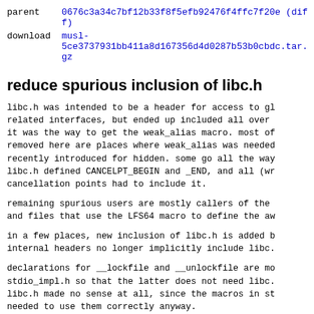| parent | 0676c3a34c7bf12b33f8f5efb92476f4ffc7f20e (diff) |
| download | musl-5ce3737931bb411a8d167356d4d0287b53b0cbdc.tar.gz |
reduce spurious inclusion of libc.h
libc.h was intended to be a header for access to gl related interfaces, but ended up included all over it was the way to get the weak_alias macro. most of removed here are places where weak_alias was needed recently introduced for hidden. some go all the way libc.h defined CANCELPT_BEGIN and _END, and all (wr cancellation points had to include it.
remaining spurious users are mostly callers of the and files that use the LFS64 macro to define the aw
in a few places, new inclusion of libc.h is added b internal headers no longer implicitly include libc.
declarations for __lockfile and __unlockfile are mo stdio_impl.h so that the latter does not need libc. libc.h made no sense at all, since the macros in st needed to use them correctly anyway.
Diffstat (limited to 'src/stdio/wscanf.c')
| -rw-r--r-- | src/stdio/wscanf.c | 1 |
1 files changed, 0 insertions, 1 deletions